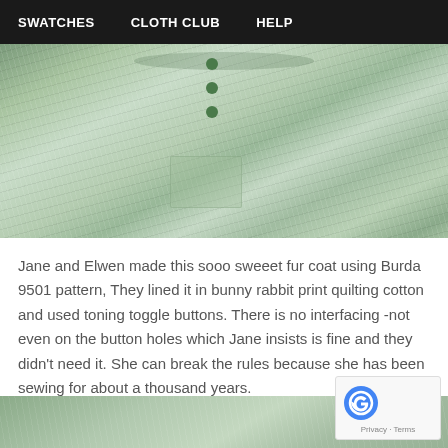SWATCHES    CLOTH CLUB    HELP
[Figure (photo): A light mint/sage green fur coat laid flat, showing the front with small patch pocket and toggle buttons, with textured fur fabric visible. Grey background.]
Jane and Elwen made this sooo sweeet fur coat using Burda 9501 pattern, They lined it in bunny rabbit print quilting cotton and used toning toggle buttons. There is no interfacing -not even on the button holes which Jane insists is fine and they didn't need it. She can break the rules because she has been sewing for about a thousand years.
[Figure (photo): Partial photo of the same mint green fur coat or fabric, bottom edge visible.]